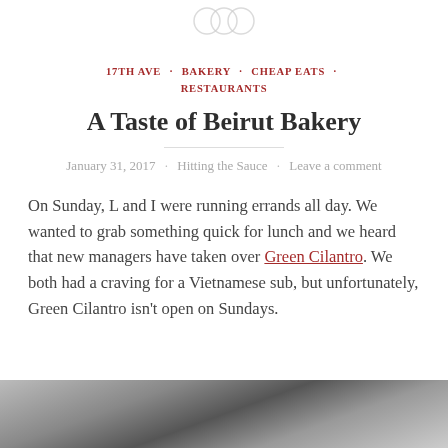[Figure (logo): Three overlapping circles logo at top center]
17TH AVE · BAKERY · CHEAP EATS · RESTAURANTS
A Taste of Beirut Bakery
January 31, 2017 · Hitting the Sauce · Leave a comment
On Sunday, L and I were running errands all day. We wanted to grab something quick for lunch and we heard that new managers have taken over Green Cilantro. We both had a craving for a Vietnamese sub, but unfortunately, Green Cilantro isn't open on Sundays.
[Figure (photo): Partial photo at bottom of page showing dark and light angular shapes]